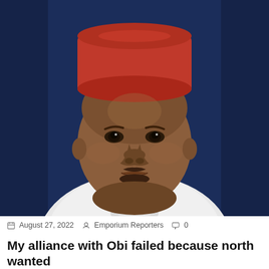[Figure (photo): Portrait of a man wearing a red traditional fez cap and white native attire, photographed against a dark blue background. He has a short beard and mustache.]
August 27, 2022   Emporium Reporters   0
My alliance with Obi failed because north wanted